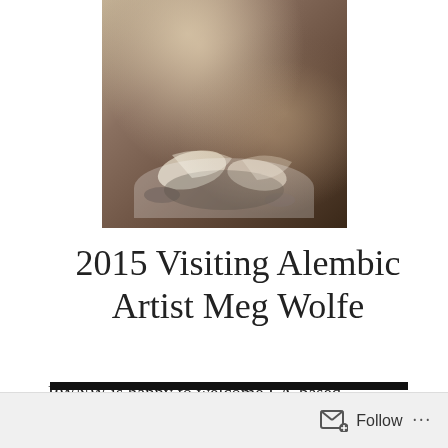[Figure (photo): A partially cropped photograph showing people seated on what appears to be a dark floor, showing legs and feet. The image has a warm, slightly faded vintage tone.]
2015 Visiting Alembic Artist Meg Wolfe
PWNW is happy to welcome LA-based choreographer Meg Wolfe for a residency February 9-March 9, 2015 as she continues developing her current project, New Faithful DIsco.
Follow